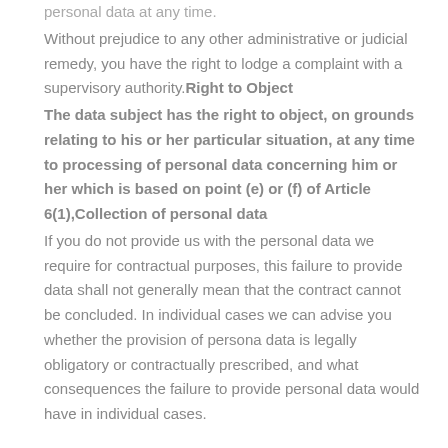personal data at any time.
Without prejudice to any other administrative or judicial remedy, you have the right to lodge a complaint with a supervisory authority.Right to Object
The data subject has the right to object, on grounds relating to his or her particular situation, at any time to processing of personal data concerning him or her which is based on point (e) or (f) of Article 6(1),Collection of personal data
If you do not provide us with the personal data we require for contractual purposes, this failure to provide data shall not generally mean that the contract cannot be concluded. In individual cases we can advise you whether the provision of persona data is legally obligatory or contractually prescribed, and what consequences the failure to provide personal data would have in individual cases.